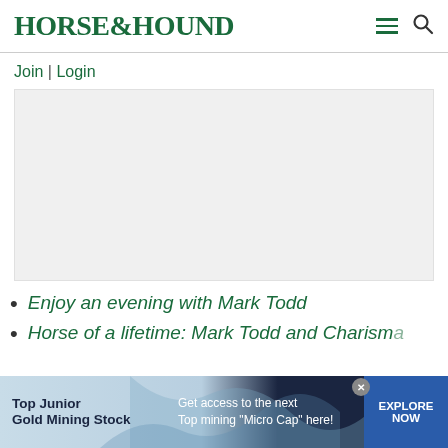HORSE&HOUND
Join | Login
[Figure (other): Advertisement placeholder — grey rectangle]
Enjoy an evening with Mark Todd
Horse of a lifetime: Mark Todd and Charisma
[Figure (other): Bottom banner advertisement: Top Junior Gold Mining Stock — Get access to the next Top mining "Micro Cap" here! — EXPLORE NOW]